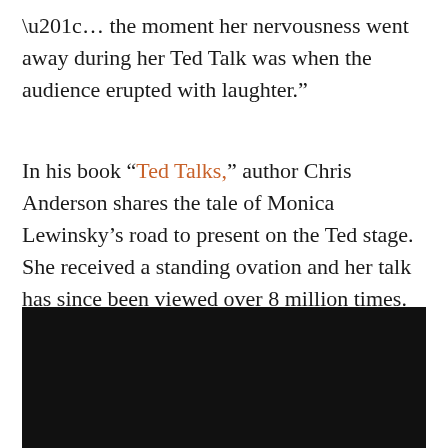“… the moment her nervousness went away during her Ted Talk was when the audience erupted with laughter.”
In his book “Ted Talks,” author Chris Anderson shares the tale of Monica Lewinsky’s road to present on the Ted stage. She received a standing ovation and her talk has since been viewed over 8 million times.
[Figure (photo): Black/dark background image, likely a video thumbnail or screenshot]